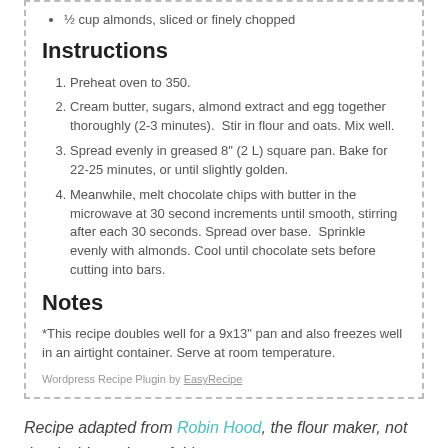½ cup almonds, sliced or finely chopped
Instructions
1. Preheat oven to 350.
2. Cream butter, sugars, almond extract and egg together thoroughly (2-3 minutes).  Stir in flour and oats. Mix well.
3. Spread evenly in greased 8" (2 L) square pan. Bake for 22-25 minutes, or until slightly golden.
4. Meanwhile, melt chocolate chips with butter in the microwave at 30 second increments until smooth, stirring after each 30 seconds. Spread over base.  Sprinkle evenly with almonds. Cool until chocolate sets before cutting into bars.
Notes
*This recipe doubles well for a 9x13" pan and also freezes well in an airtight container. Serve at room temperature.
Wordpress Recipe Plugin by EasyRecipe
Recipe adapted from Robin Hood, the flour maker, not the dashing prince of thieves.